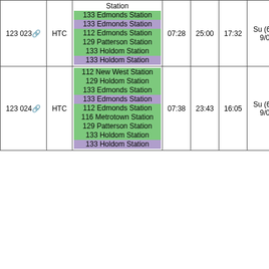| ID | Type | Routes | Start | End | Duration | Days |
| --- | --- | --- | --- | --- | --- | --- |
| 123 023 | HTC | Station / 133 Edmonds Station / 133 Edmonds Station / 112 Edmonds Station / 129 Patterson Station / 133 Holdom Station / 133 Holdom Station | 07:28 | 25:00 | 17:32 | Su (6/27-9/04) |
| 123 024 | HTC | 112 New West Station / 129 Holdom Station / 133 Edmonds Station / 133 Edmonds Station / 112 Edmonds Station / 116 Metrotown Station / 129 Patterson Station / 133 Holdom Station / 133 Holdom Station | 07:38 | 23:43 | 16:05 | Su (6/27-9/04) |